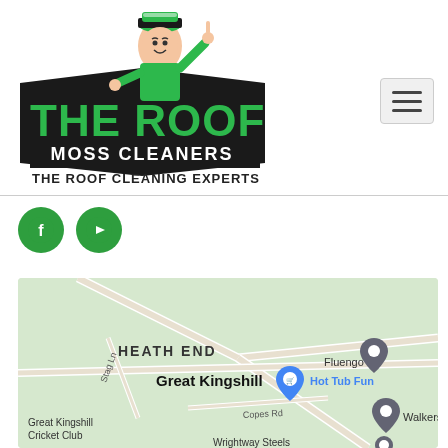[Figure (logo): The Roof Moss Cleaners logo with cartoon man in green uniform pointing up, bold green and black lettering reading 'THE ROOF MOSS CLEANERS' with tagline 'THE ROOF CLEANING EXPERTS']
[Figure (infographic): Hamburger menu icon (three horizontal lines) in a grey rounded rectangle button]
[Figure (infographic): Two green circular social media icons: Facebook (f icon) and YouTube (play button icon)]
[Figure (map): Google Maps screenshot showing Great Kingshill area with Heath End, Fluengo pin, Hot Tub Fun pin (blue), Walkers Pampere pin, Great Kingshill Cricket Club, Stag Ln, Copes Rd, Wrightway Steels locations visible]